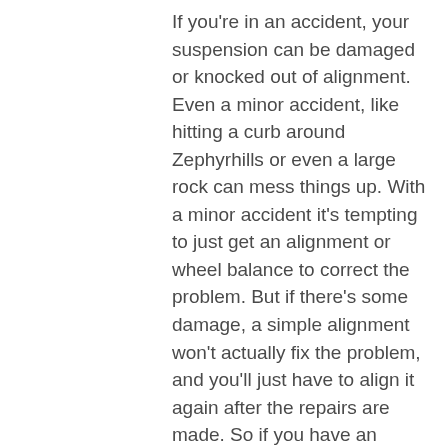If you're in an accident, your suspension can be damaged or knocked out of alignment. Even a minor accident, like hitting a curb around Zephyrhills or even a large rock can mess things up. With a minor accident it's tempting to just get an alignment or wheel balance to correct the problem. But if there's some damage, a simple alignment won't actually fix the problem, and you'll just have to align it again after the repairs are made. So if you have an accident, get your suspension system inspected right away. Suspension problems should be fixed immediately because they can lead to unsafe handling.
One big cause of suspension damage